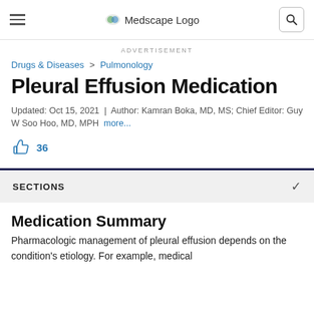Medscape Logo
ADVERTISEMENT
Drugs & Diseases > Pulmonology
Pleural Effusion Medication
Updated: Oct 15, 2021 | Author: Kamran Boka, MD, MS; Chief Editor: Guy W Soo Hoo, MD, MPH more...
36
SECTIONS
Medication Summary
Pharmacologic management of pleural effusion depends on the condition's etiology. For example, medical